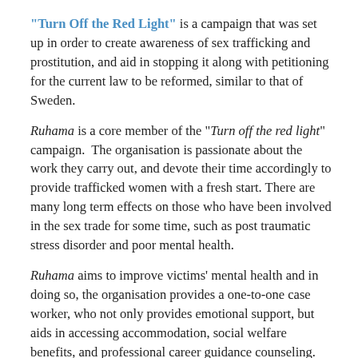"Turn Off the Red Light" is a campaign that was set up in order to create awareness of sex trafficking and prostitution, and aid in stopping it along with petitioning for the current law to be reformed, similar to that of Sweden.
Ruhama is a core member of the "Turn off the red light" campaign. The organisation is passionate about the work they carry out, and devote their time accordingly to provide trafficked women with a fresh start. There are many long term effects on those who have been involved in the sex trade for some time, such as post traumatic stress disorder and poor mental health.
Ruhama aims to improve victims' mental health and in doing so, the organisation provides a one-to-one case worker, who not only provides emotional support, but aids in accessing accommodation, social welfare benefits, and professional career guidance counseling.
When asked about the health status of the women Ruhama